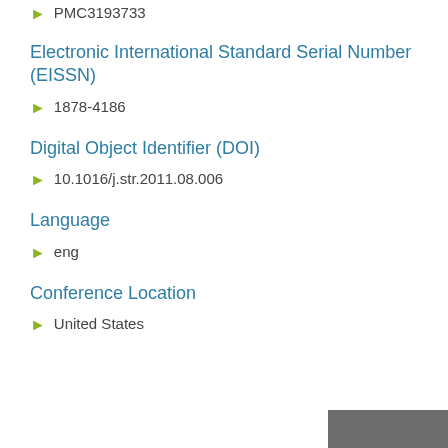PMC3193733
Electronic International Standard Serial Number (EISSN)
1878-4186
Digital Object Identifier (DOI)
10.1016/j.str.2011.08.006
Language
eng
Conference Location
United States